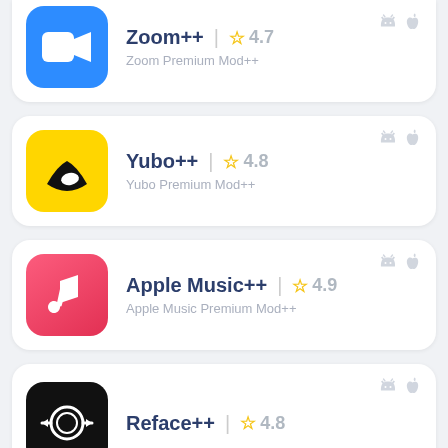Zoom++ | 4.7 | Zoom Premium Mod++
Yubo++ | 4.8 | Yubo Premium Mod++
Apple Music++ | 4.9 | Apple Music Premium Mod++
Reface++ | 4.8